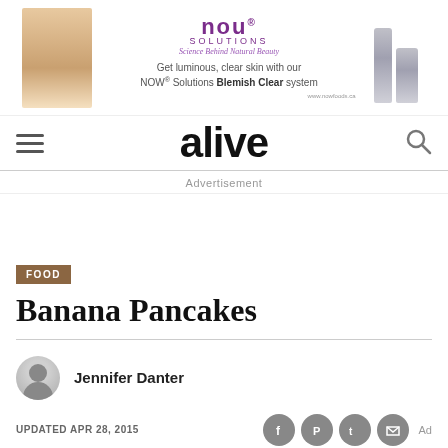[Figure (illustration): NOW Solutions advertisement banner. Features a woman's face on left, NOW Solutions logo with 'Science Behind Natural Beauty' tagline in center, text 'Get luminous, clear skin with our NOW Solutions Blemish Clear system', and product bottles on the right.]
alive
Advertisement
FOOD
Banana Pancakes
Jennifer Danter
UPDATED APR 28, 2015